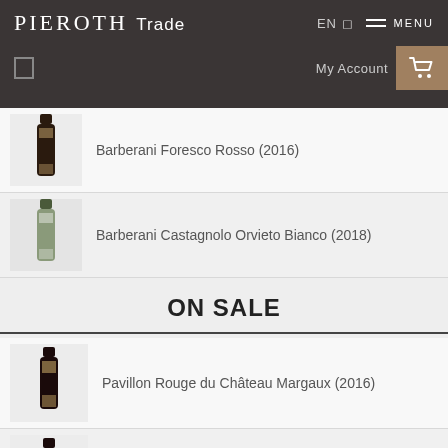PIEROTH Trade | EN | MENU | My Account
Barberani Foresco Rosso (2016)
Barberani Castagnolo Orvieto Bianco (2018)
ON SALE
Pavillon Rouge du Château Margaux (2016)
Château Latour (2012)
Peñascal Rosado